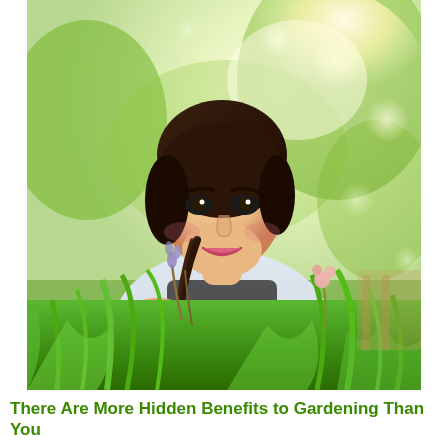[Figure (photo): A young woman with short dark hair wearing a dark apron over a light shirt, smiling and holding green plants/herbs in a garden setting with soft bokeh background of green trees and golden sunlight.]
There Are More Hidden Benefits to Gardening Than You